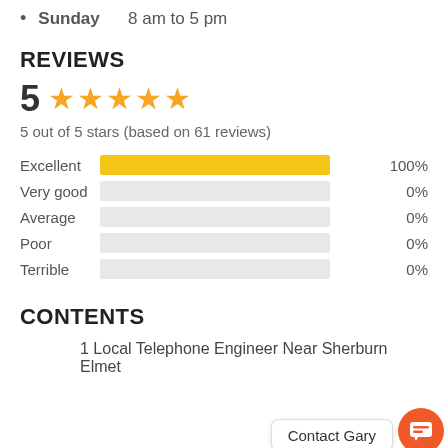Sunday   8 am to 5 pm
REVIEWS
[Figure (other): 5 out of 5 stars rating display with 5 gold stars]
5 out of 5 stars (based on 61 reviews)
[Figure (bar-chart): Review rating breakdown]
CONTENTS
1 Local Telephone Engineer Near Sherburn Elmet